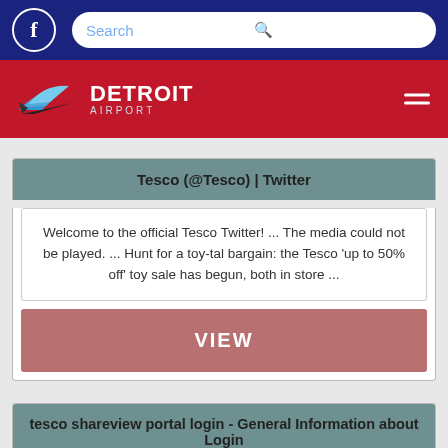Facebook icon | Search bar
[Figure (logo): Detroit Airport logo on red background with hamburger menu]
Tesco (@Tesco) | Twitter
Welcome to the official Tesco Twitter! ... The media could not be played. ... Hunt for a toy-tal bargain: the Tesco 'up to 50% off' toy sale has begun, both in store ...
VIEW
tesco shareview portal login - General Information about Login
Shareview Tesco Employee Share Schemes at